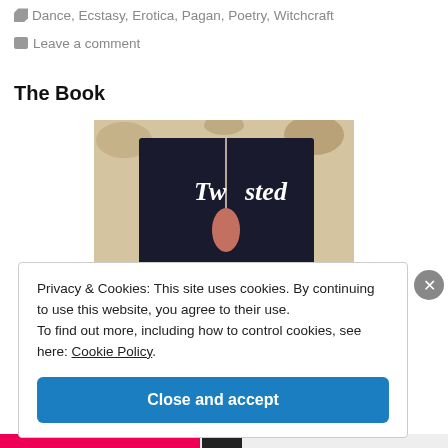Dance, Ecstasy, Erotica, Pagan, Poetry, Witchcraft
Leave a comment
The Book
[Figure (photo): Photo of a book titled 'Twisted' with a dark cover showing a hand, placed on a floral background.]
Privacy & Cookies: This site uses cookies. By continuing to use this website, you agree to their use.
To find out more, including how to control cookies, see here: Cookie Policy
Close and accept